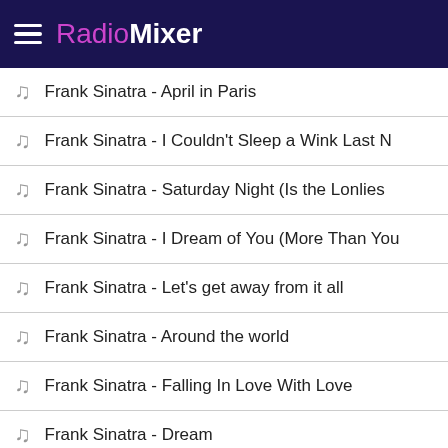RadioMixer
Frank Sinatra - April in Paris
Frank Sinatra - I Couldn't Sleep a Wink Last N
Frank Sinatra - Saturday Night (Is the Lonlies
Frank Sinatra - I Dream of You (More Than You
Frank Sinatra - Let's get away from it all
Frank Sinatra - Around the world
Frank Sinatra - Falling In Love With Love
Frank Sinatra - Dream
Frank Sinatra - My Kind Of Town